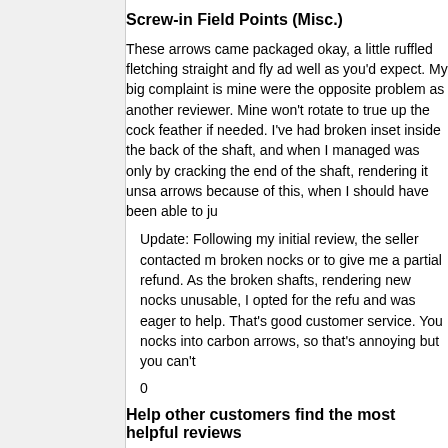Screw-in Field Points (Misc.)
These arrows came packaged okay, a little ruffled fletching straight and fly ad well as you'd expect. My big complaint is mine were the opposite problem as another reviewer. Mine won't rotate to true up the cock feather if needed. I've had broken inset inside the back of the shaft, and when I managed was only by cracking the end of the shaft, rendering it unsable arrows because of this, when I should have been able to ju
Update: Following my initial review, the seller contacted m broken nocks or to give me a partial refund. As the broken shafts, rendering new nocks unusable, I opted for the refu and was eager to help. That's good customer service. You nocks into carbon arrows, so that's annoying but you can't
0
Help other customers find the most helpful reviews
Was this review helpful to you? Yes
No
Reply